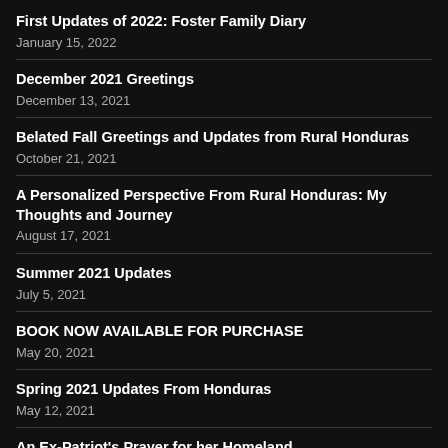First Updates of 2022: Foster Family Diary
January 15, 2022
December 2021 Greetings
December 13, 2021
Belated Fall Greetings and Updates from Rural Honduras
October 21, 2021
A Personalized Perspective From Rural Honduras: My Thoughts and Journey
August 17, 2021
Summer 2021 Updates
July 5, 2021
BOOK NOW AVAILABLE FOR PURCHASE
May 20, 2021
Spring 2021 Updates From Honduras
May 12, 2021
An Ex-Patriot's Prayer for her Homeland
February 19, 2021